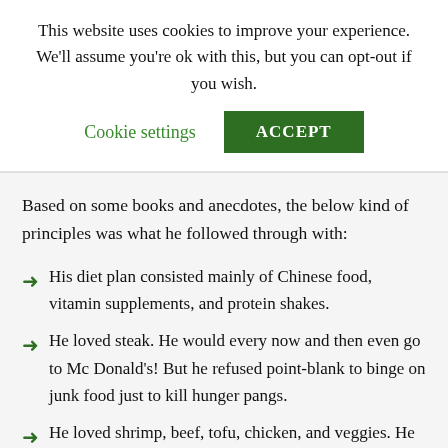This website uses cookies to improve your experience. We'll assume you're ok with this, but you can opt-out if you wish.
Cookie settings  ACCEPT
Based on some books and anecdotes, the below kind of principles was what he followed through with:
His diet plan consisted mainly of Chinese food, vitamin supplements, and protein shakes.
He loved steak. He would every now and then even go to Mc Donald's! But he refused point-blank to binge on junk food just to kill hunger pangs.
He loved shrimp, beef, tofu, chicken, and veggies. He preferred the Chinese vegetable dishes.